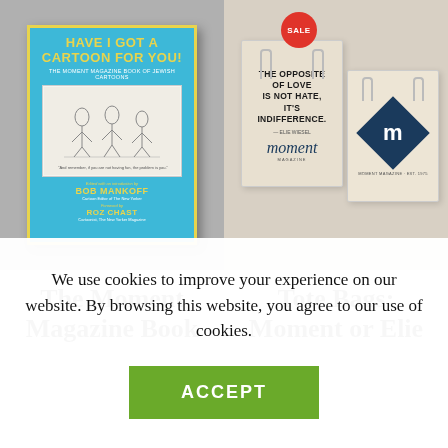[Figure (photo): Book cover for 'Have I Got a Cartoon for You! The Moment Magazine Book of Jewish Cartoons', edited by Bob Mankoff, foreword by Roz Chast, displayed on a gray background]
[Figure (photo): Two canvas tote bags — one with 'The opposite of love is not hate, it's indifference. — Elie Wiesel' and the Moment magazine logo, another with a dark teal diamond 'm' logo — on a beige background with a red SALE badge]
The Moment Magazine Book
Tote Bags: Moment or Elie
We use cookies to improve your experience on our website. By browsing this website, you agree to our use of cookies.
ACCEPT